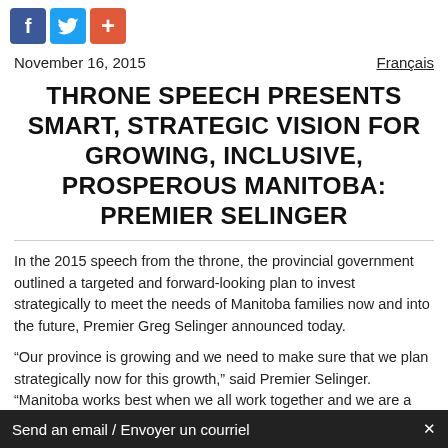[Figure (logo): Social media sharing buttons: Facebook (blue), Twitter (light blue), Share/plus (orange-red)]
November 16, 2015
Français
THRONE SPEECH PRESENTS SMART, STRATEGIC VISION FOR GROWING, INCLUSIVE, PROSPEROUS MANITOBA: PREMIER SELINGER
In the 2015 speech from the throne, the provincial government outlined a targeted and forward-looking plan to invest strategically to meet the needs of Manitoba families now and into the future, Premier Greg Selinger announced today.
“Our province is growing and we need to make sure that we plan strategically now for this growth,” said Premier Selinger. “Manitoba works best when we all work together and we are a province where everyone belongs. That is why our throne speech focuses…
Send an email / Envoyer un courriel   ×